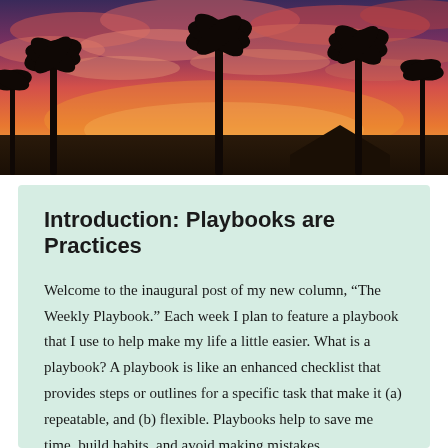[Figure (photo): Tropical sunset photo showing palm tree silhouettes against a vivid orange, pink, and purple sky with dramatic clouds]
Introduction: Playbooks are Practices
Welcome to the inaugural post of my new column, “The Weekly Playbook.” Each week I plan to feature a playbook that I use to help make my life a little easier. What is a playbook? A playbook is like an enhanced checklist that provides steps or outlines for a specific task that make it (a) repeatable, and (b) flexible. Playbooks help to save me time, build habits, and avoid making mistakes.